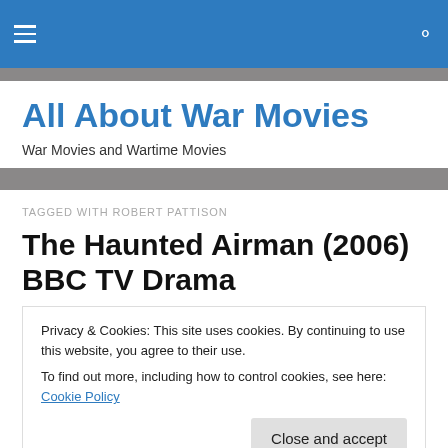All About War Movies — War Movies and Wartime Movies
TAGGED WITH ROBERT PATTISON
The Haunted Airman (2006) BBC TV Drama
Privacy & Cookies: This site uses cookies. By continuing to use this website, you agree to their use.
To find out more, including how to control cookies, see here: Cookie Policy
Close and accept
[Figure (photo): Bottom strip showing partial movie image for The Haunted Airman, dark blue tones with partial text 'THE']